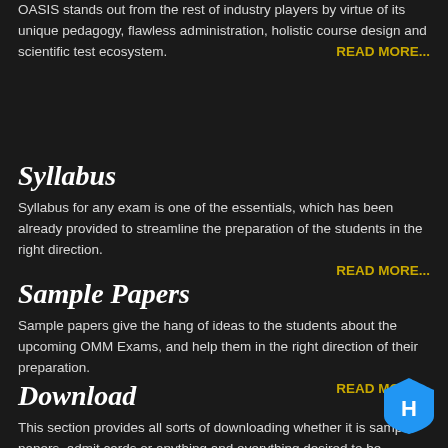OASIS stands out from the rest of industry players by virtue of its unique pedagogy, flawless administration, holistic course design and scientific test ecosystem.
READ MORE...
Syllabus
Syllabus for any exam is one of the essentials, which has been already provided to streamline the preparation of the students in the right direction.
READ MORE...
Sample Papers
Sample papers give the hang of ideas to the students about the upcoming OMM Exams, and help them in the right direction of their preparation.
READ MORE...
Download
This section provides all sorts of downloading whether it is sample papers, admit cards or anything and everything desired to be downloaded.
READ MO...